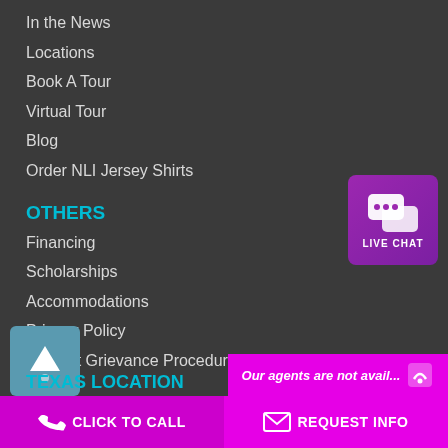In the News
Locations
Book A Tour
Virtual Tour
Blog
Order NLI Jersey Shirts
OTHERS
Financing
Scholarships
Accommodations
Privacy Policy
Student Grievance Procedures
[Figure (other): Live Chat button with speech bubble icons on purple background]
ARIZONA LOCATION
16601 N. 90th St.
Scottsdale, AZ 85260
View map
480.290.7333
www.nlimedspa.com
Our agents are not avail...
TEXAS LOCATION
CLICK TO CALL    REQUEST INFO